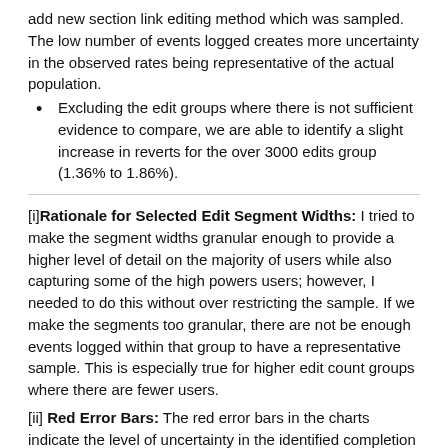add new section link editing method which was sampled. The low number of events logged creates more uncertainty in the observed rates being representative of the actual population.
Excluding the edit groups where there is not sufficient evidence to compare, we are able to identify a slight increase in reverts for the over 3000 edits group (1.36% to 1.86%).
[i] Rationale for Selected Edit Segment Widths: I tried to make the segment widths granular enough to provide a higher level of detail on the majority of users while also capturing some of the high powers users; however, I needed to do this without over restricting the sample. If we make the segments too granular, there are not be enough events logged within that group to have a representative sample. This is especially true for higher edit count groups where there are fewer users.
[ii] Red Error Bars: The red error bars in the charts indicate the level of uncertainty in the identified completion rate. There is more uncertainty in the identified completion rates for higher edit count contributors using the existing add new section link. This is due to